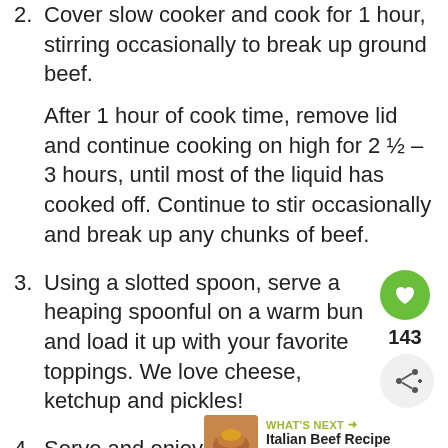2. Cover slow cooker and cook for 1 hour, stirring occasionally to break up ground beef.
After 1 hour of cook time, remove lid and continue cooking on high for 2 ½ – 3 hours, until most of the liquid has cooked off.  Continue to stir occasionally and break up any chunks of beef.
3. Using a slotted spoon, serve a heaping spoonful on a warm bun and load it up with your favorite toppings.  We love cheese, ketchup and pickles!
4. Serve and enjoy!